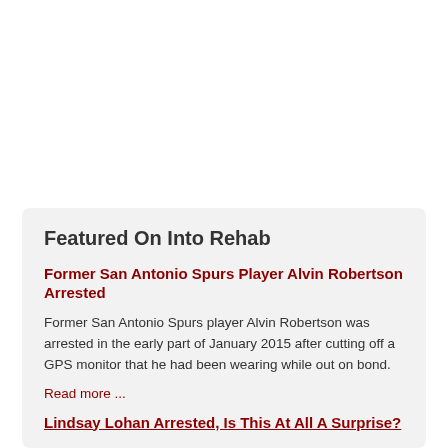Featured On Into Rehab
Former San Antonio Spurs Player Alvin Robertson Arrested
Former San Antonio Spurs player Alvin Robertson was arrested in the early part of January 2015 after cutting off a GPS monitor that he had been wearing while out on bond.
Read more ...
Lindsay Lohan Arrested, Is This At All A Surprise?